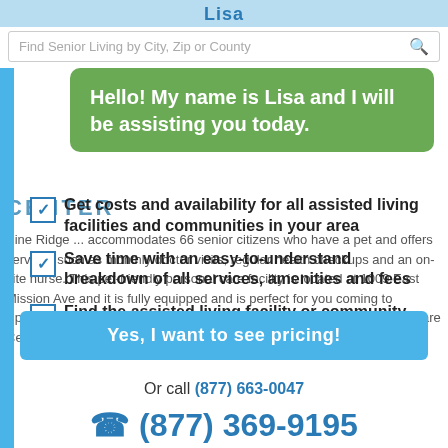Lisa
Find Senior Living by City, Zip or County
Hello! My name is Lisa and I will be assisting you today.
(877) 311-8349
CENTER
Pine Ridge ... accommodates 66 senior citizens who have a pet and offers services such as monthly doctor visits, regular health checkups and an on-site nurse. This pet-friendly personal care facility is located at 1009 East Mission Ave and it is fully equipped and is perfect for you coming to Spokane Valley, WA older dog owners. Pine Ridge Alzheimers Special Care Center has certain pet related rules and restrictions in place.
Get costs and availability for all assisted living facilities and communities in your area
Save time with an easy-to-understand breakdown of all services, amenities and fees
Find the assisted living facility or community that is perfect for you
Yes, I want to see pricing!
Or call (877) 663-0047
(877) 369-9195